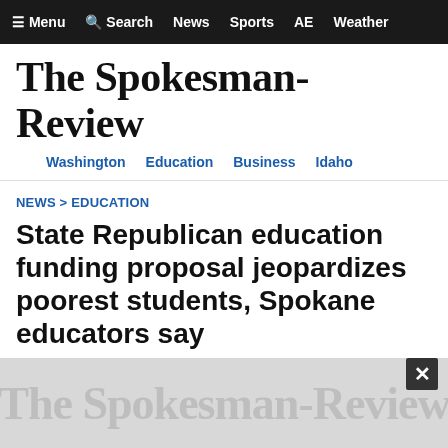≡ Menu  🔍 Search  News  Sports  AE  Weather
The Spokesman-Review
Washington  Education  Business  Idaho
NEWS > EDUCATION
State Republican education funding proposal jeopardizes poorest students, Spokane educators say
Feb. 18, 2017  |  Updated Sat., Feb. 18, 2017 at 10:34 p.m.